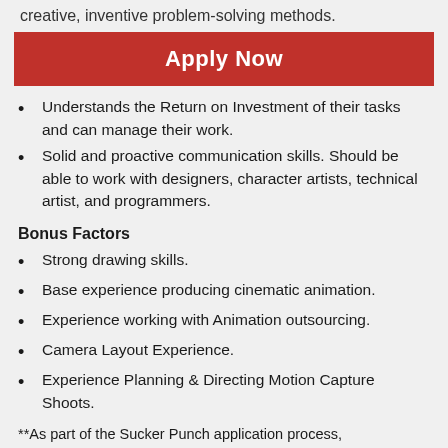creative, inventive problem-solving methods.
Apply Now
Understands the Return on Investment of their tasks and can manage their work.
Solid and proactive communication skills. Should be able to work with designers, character artists, technical artist, and programmers.
Bonus Factors
Strong drawing skills.
Base experience producing cinematic animation.
Experience working with Animation outsourcing.
Camera Layout Experience.
Experience Planning & Directing Motion Capture Shoots.
**As part of the Sucker Punch application process,